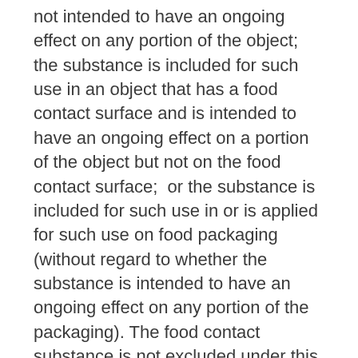not intended to have an ongoing effect on any portion of the object;  the substance is included for such use in an object that has a food contact surface and is intended to have an ongoing effect on a portion of the object but not on the food contact surface;  or the substance is included for such use in or is applied for such use on food packaging (without regard to whether the substance is intended to have an ongoing effect on any portion of the packaging). The food contact substance is not excluded under this subclause from such definition if any of the following circumstances exist:  The substance is applied for such use on a semipermanent or permanent food contact surface (other than being applied on food packaging); or the substance is included for